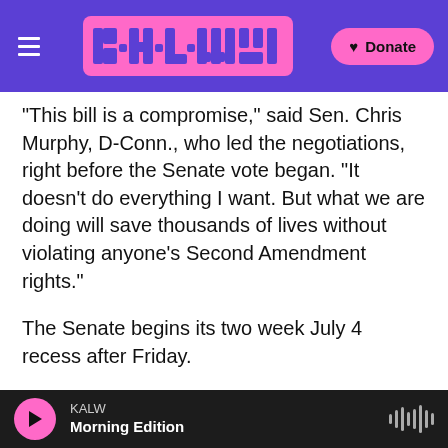KALW — header with logo and Donate button
"This bill is a compromise," said Sen. Chris Murphy, D-Conn., who led the negotiations, right before the Senate vote began. "It doesn't do everything I want. But what we are doing will save thousands of lives without violating anyone's Second Amendment rights."
The Senate begins its two week July 4 recess after Friday.
Copyright 2022 NPR. To see more, visit https://www.npr.org.
[Figure (photo): Partial photo visible at bottom of content area]
KALW — Morning Edition (audio player bar)